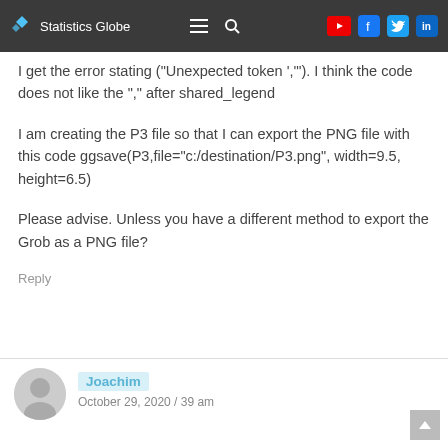Statistics Globe
I get the error stating ("Unexpected token ','"). I think the code does not like the "," after shared_legend
I am creating the P3 file so that I can export the PNG file with this code ggsave(P3,file="c:/destination/P3.png", width=9.5, height=6.5)
Please advise. Unless you have a different method to export the Grob as a PNG file?
Reply
Joachim
October 29, 2020 / 39 am